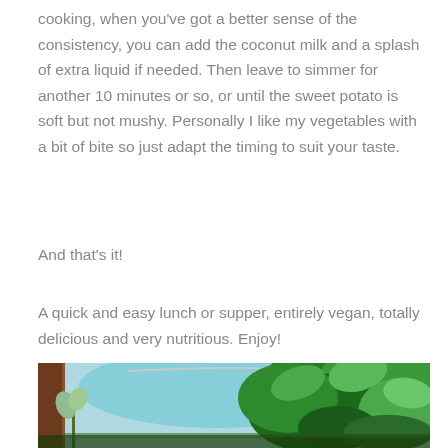cooking, when you've got a better sense of the consistency, you can add the coconut milk and a splash of extra liquid if needed. Then leave to simmer for another 10 minutes or so, or until the sweet potato is soft but not mushy. Personally I like my vegetables with a bit of bite so just adapt the timing to suit your taste.
And that's it!
A quick and easy lunch or supper, entirely vegan, totally delicious and very nutritious. Enjoy!
[Figure (photo): Photo of green plants and foliage shot through a window, with a brown window frame on the left, wire/hanger visible, and lush green leaves filling the right portion of the image with a blue-teal hazy background.]